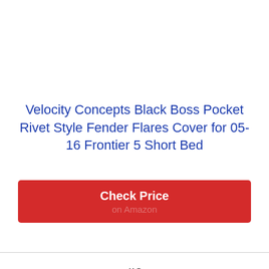Velocity Concepts Black Boss Pocket Rivet Style Fender Flares Cover for 05-16 Frontier 5 Short Bed
Check Price on Amazon
#6
R&L Racing Black Fender Flares Cover Boss Pocket Rivet Style 2005-2016 for Ni...